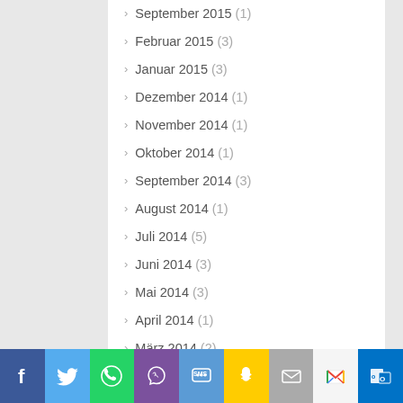September 2015 (1)
Februar 2015 (3)
Januar 2015 (3)
Dezember 2014 (1)
November 2014 (1)
Oktober 2014 (1)
September 2014 (3)
August 2014 (1)
Juli 2014 (5)
Juni 2014 (3)
Mai 2014 (3)
April 2014 (1)
März 2014 (2)
Februar 2014 (3)
Januar 2014 (2)
Dezember 2013 (5)
November 2013 (4)
[Figure (infographic): Social sharing bar with icons: Facebook, Twitter, WhatsApp, Viber, SMS, Snapchat, Email, Gmail, Outlook]